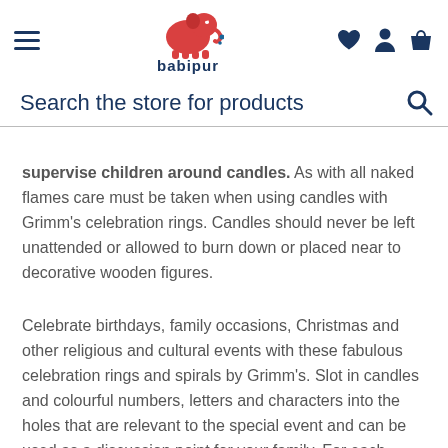babipur
Search the store for products
supervise children around candles. As with all naked flames care must be taken when using candles with Grimm's celebration rings. Candles should never be left unattended or allowed to burn down or placed near to decorative wooden figures.
Celebrate birthdays, family occasions, Christmas and other religious and cultural events with these fabulous celebration rings and spirals by Grimm's. Slot in candles and colourful numbers, letters and characters into the holes that are relevant to the special event and can be used as a discussion point for your family. For each birthday, add a candle and a new personalised ornament and, as the years pass and the slots become